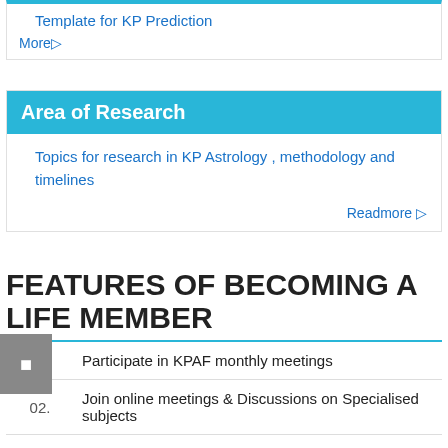Template for KP Prediction
More▷
Area of Research
Topics for research in KP Astrology , methodology and timelines
Readmore ▷
FEATURES OF BECOMING A LIFE MEMBER
01.  Participate in KPAF monthly meetings
02.  Join online meetings & Discussions on Specialised subjects
03.  Concession in Annual Summit Fees.
04.  Concession in 'Astro' Products.